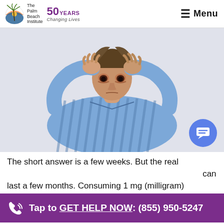The Palm Beach Institute | 50 YEARS Changing Lives | Menu
[Figure (photo): Man in blue striped pajama shirt lying on his back with both hands on his head, looking distressed or stressed, against a white background.]
The short answer is a few weeks. But the real answer can last a few months. Consuming 1 mg (milligram)
Tap to GET HELP NOW: (855) 950-5247
better results for users than for those who have taken higher doses.